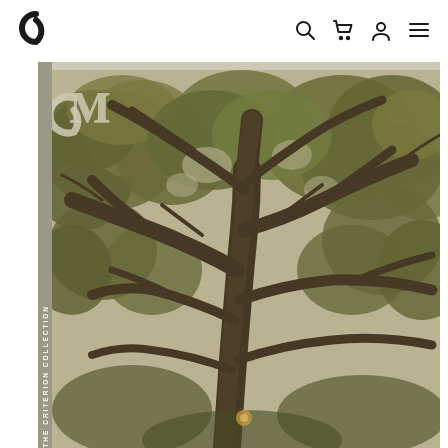[Figure (screenshot): Criterion Collection website header with logo (C) on left and navigation icons (search, cart, account, menu) on right]
[Figure (photo): Criterion Collection film cover showing a large tree photographed from below in sepia/olive tones with the Criterion logo overlay in the top-left corner. Vertical spine text reads THE CRITERION COLLECTION on the left edge.]